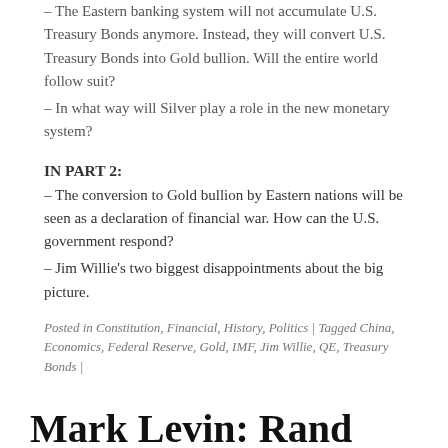– The Eastern banking system will not accumulate U.S. Treasury Bonds anymore. Instead, they will convert U.S. Treasury Bonds into Gold bullion. Will the entire world follow suit?
– In what way will Silver play a role in the new monetary system?
IN PART 2:
– The conversion to Gold bullion by Eastern nations will be seen as a declaration of financial war. How can the U.S. government respond?
– Jim Willie's two biggest disappointments about the big picture.
Posted in Constitution, Financial, History, Politics | Tagged China, Economics, Federal Reserve, Gold, IMF, Jim Willie, QE, Treasury Bonds |
Mark Levin: Rand Paul Is RIGHT And Hillary Should Be CRIMINALLY INVESTIGATED